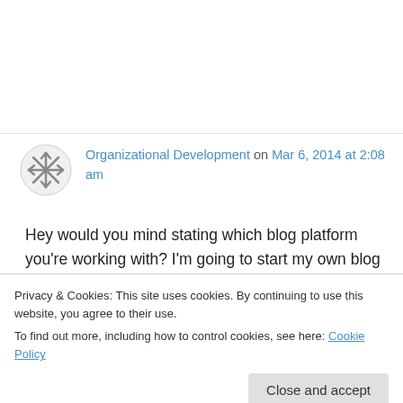Organizational Development on Mar 6, 2014 at 2:08 am
Hey would you mind stating which blog platform you're working with? I'm going to start my own blog in the near future but I'm having a tough time making a decision between
Privacy & Cookies: This site uses cookies. By continuing to use this website, you agree to their use.
To find out more, including how to control cookies, see here: Cookie Policy